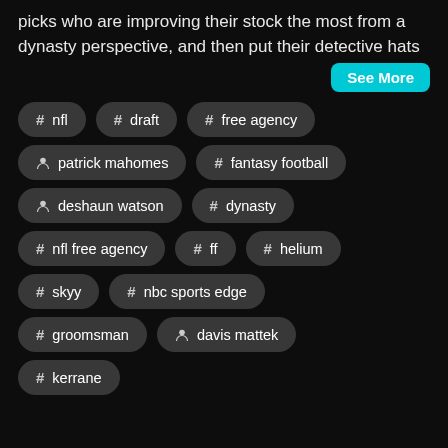picks who are improving their stock the most from a dynasty perspective, and then put their detective hats
See More
# nfl
# draft
# free agency
person patrick mahomes
# fantasy football
person deshaun watson
# dynasty
# nfl free agency
# ff
# helium
# skyy
# nbc sports edge
# groomsman
person davis mattek
# kerrane